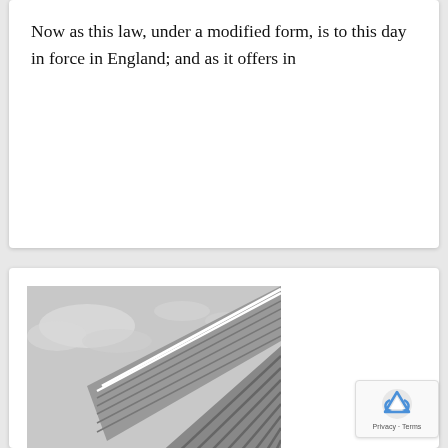Now as this law, under a modified form, is to this day in force in England; and as it offers in
[Figure (photo): Black and white photograph of a modern building with angular glass and metal facade, viewed from below looking up at the sky.]
HAMBURG GLAS HOUSE
The Wicked Witch was both surprised and worried when she saw the mark on Dorothy's